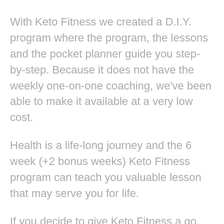With Keto Fitness we created a D.I.Y. program where the program, the lessons and the pocket planner guide you step-by-step. Because it does not have the weekly one-on-one coaching, we've been able to make it available at a very low cost.
Health is a life-long journey and the 6 week (+2 bonus weeks) Keto Fitness program can teach you valuable lesson that may serve you for life.
If you decide to give Keto Fitness a go, we look forward to hearing about your results.